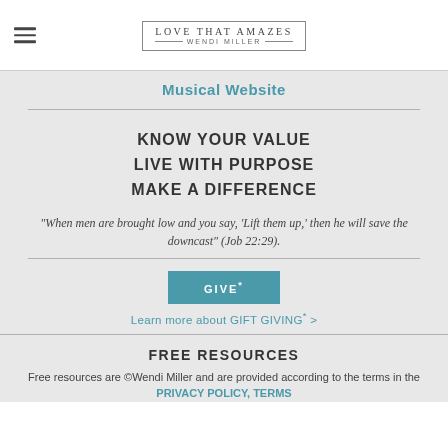[Figure (logo): Love That Amazes - Wendi Miller logo in a rectangular border, with hamburger menu icon to the left]
Musical Website
KNOW YOUR VALUE
LIVE WITH PURPOSE
MAKE A DIFFERENCE
"When men are brought low and you say, 'Lift them up,' then he will save the downcast" (Job 22:29).
GIVE*
Learn more about GIFT GIVING* >
FREE RESOURCES
Free resources are ©Wendi Miller and are provided according to the terms in the PRIVACY POLICY, TERMS